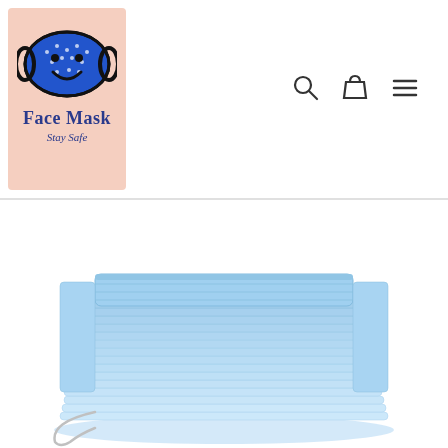[Figure (logo): Face Mask Stay Safe logo: pink background square with a cartoon blue polka-dot face mask with a smiley face, text 'Face Mask' in blue serif font and 'Stay Safe' in cursive below]
[Figure (illustration): Navigation icons: search magnifying glass, shopping bag/cart, and hamburger menu (three horizontal lines)]
[Figure (photo): A stack of light blue disposable surgical/medical face masks piled on top of each other, with one mask visible at the bottom front showing the ear loops]